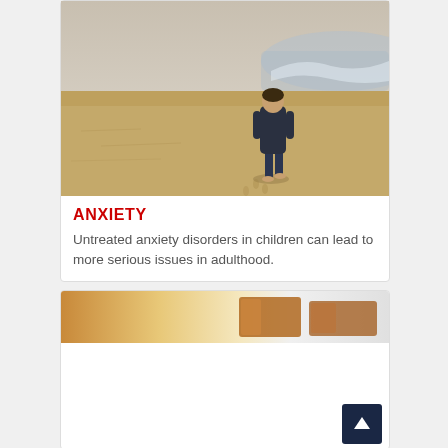[Figure (photo): Child walking alone on a sandy beach near the water's edge, wearing a dark hoodie and jeans, photographed from behind at a distance]
ANXIETY
Untreated anxiety disorders in children can lead to more serious issues in adulthood.
[Figure (photo): Partial cropped image showing warm-toned skin tones or wood-grain abstract texture in orange and brown hues]
[Figure (other): Back-to-top navigation button with upward arrow icon on dark navy background]